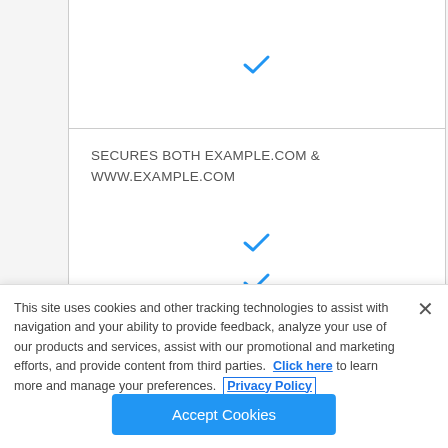[Figure (screenshot): A table cell with a blue checkmark in the top row, followed by a row with text 'SECURES BOTH EXAMPLE.COM & WWW.EXAMPLE.COM', and two more rows each containing a blue checkmark.]
This site uses cookies and other tracking technologies to assist with navigation and your ability to provide feedback, analyze your use of our products and services, assist with our promotional and marketing efforts, and provide content from third parties. Click here to learn more and manage your preferences. Privacy Policy
Accept Cookies